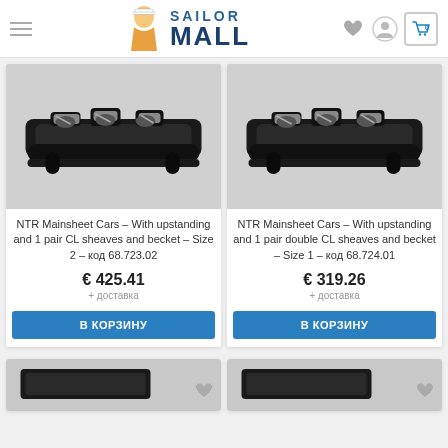Sailor Mall — navigation header with logo, hamburger menu, wishlist, user, and cart icons
[Figure (photo): NTR Mainsheet Cars sailing hardware product photo — black car component with metal fittings, left product]
NTR Mainsheet Cars – With upstanding and 1 pair CL sheaves and becket – Size 2 – код 68.723.02
€ 425.41
+ доставка
В КОРЗИНУ
[Figure (photo): NTR Mainsheet Cars sailing hardware product photo — black car component with metal fittings, right product]
NTR Mainsheet Cars – With upstanding and 1 pair double CL sheaves and becket – Size 1 – код 68.724.01
€ 319.26
+ доставка
В КОРЗИНУ